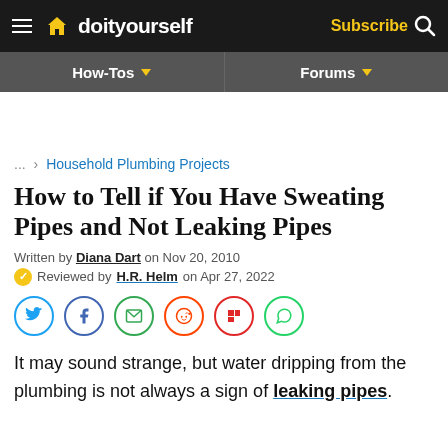doityourself — Subscribe
How-Tos   Forums
... > Household Plumbing Projects
How to Tell if You Have Sweating Pipes and Not Leaking Pipes
Written by Diana Dart on Nov 20, 2010
Reviewed by H.R. Helm on Apr 27, 2022
It may sound strange, but water dripping from the plumbing is not always a sign of leaking pipes.